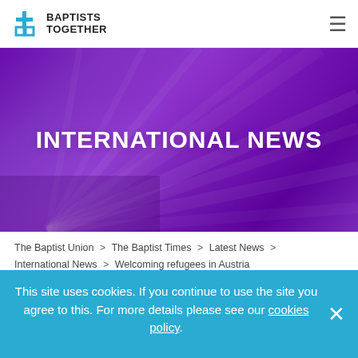BAPTISTS TOGETHER
[Figure (illustration): Purple abstract folded ribbon/fabric background with 'INTERNATIONAL NEWS' text overlay]
INTERNATIONAL NEWS
The Baptist Union > The Baptist Times > Latest News > International News > Welcoming refugees in Austria
This site uses cookies. If you continue to use the site you agree to this. For more details please see our cookies policy.